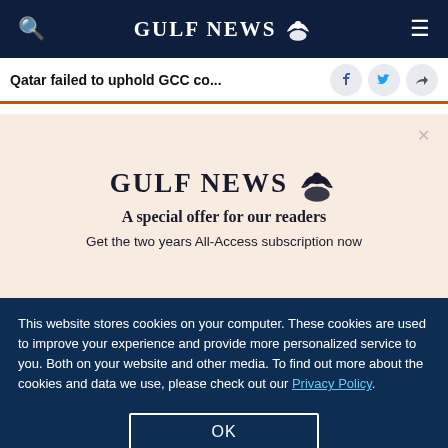GULF NEWS
Qatar failed to uphold GCC co...
A special offer for our readers
Get the two years All-Access subscription now
This website stores cookies on your computer. These cookies are used to improve your experience and provide more personalized service to you. Both on your website and other media. To find out more about the cookies and data we use, please check out our Privacy Policy.
OK